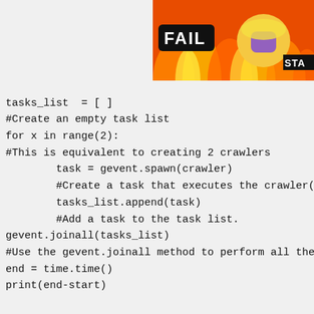[Figure (screenshot): Advertisement banner with FAIL badge and cartoon character, orange/red fire background, partial STA text visible at right edge]
[Figure (screenshot): Scrolled code snippet inside a white rounded box showing Python web crawler code: r = requests.get(url), #Grab the URL with the requests.g, print(url,work.qsize(),r.status_c, #Print the web address, queue len]
tasks_list  = [ ]
#Create an empty task list
for x in range(2):
#This is equivalent to creating 2 crawlers
        task = gevent.spawn(crawler)
        #Create a task that executes the crawler(
        tasks_list.append(task)
        #Add a task to the task list.
gevent.joinall(tasks_list)
#Use the gevent.joinall method to perform all the
end = time.time()
print(end-start)